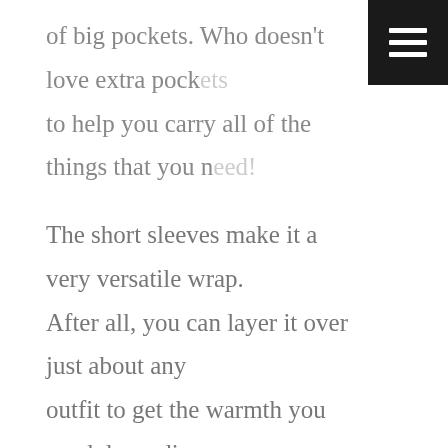of big pockets. Who doesn't love extra pockets to help you carry all of the things that you need!
The short sleeves make it a very versatile wrap. After all, you can layer it over just about any outfit to get the warmth you need depending on the season.
And can we talk about this color? When I posted the teaser photos on social media this week, so many people responded that it's such a great color on me. THANK YOU. A fun fact about this color: I almost never wear this color